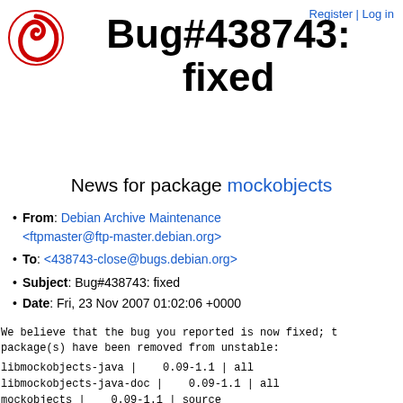Register | Log in
Bug#438743: fixed
News for package mockobjects
From: Debian Archive Maintenance <ftpmaster@ftp-master.debian.org>
To: <438743-close@bugs.debian.org>
Subject: Bug#438743: fixed
Date: Fri, 23 Nov 2007 01:02:06 +0000
We believe that the bug you reported is now fixed; t package(s) have been removed from unstable:
libmockobjects-java |   0.09-1.1 | all
libmockobjects-java-doc |   0.09-1.1 | all
mockobjects |   0.09-1.1 | source
Note that the package(s) have simply been removed fr database and may (or may not) still be in the pool; The package(s) will be physically removed automatica references them (and in the case of source, when no